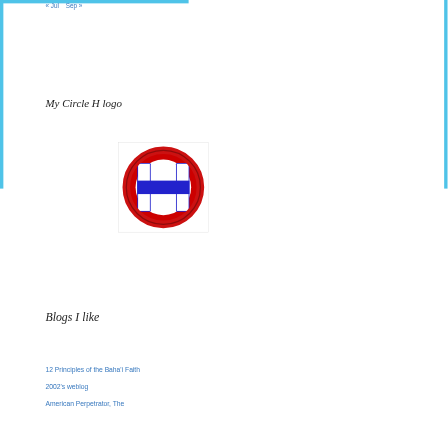« Jul   Sep »
My Circle H logo
[Figure (logo): Circle H logo: a red circle outline with a blue H letter inside on white background]
Blogs I like
12 Principles of the Baha'i Faith
2002's weblog
American Perpetrator, The